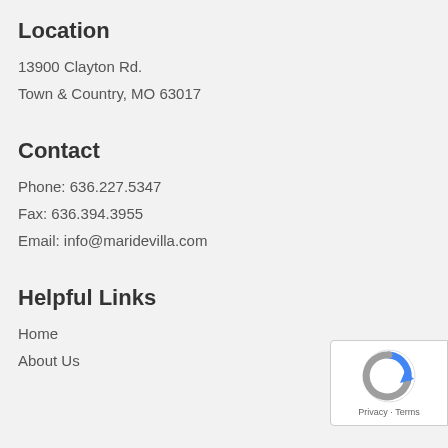Location
13900 Clayton Rd.
Town & Country, MO 63017
Contact
Phone: 636.227.5347
Fax: 636.394.3955
Email: info@maridevilla.com
Helpful Links
Home
About Us
[Figure (logo): Google reCAPTCHA badge with Privacy and Terms links]